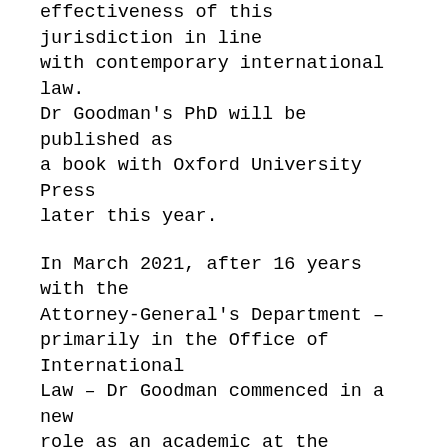effectiveness of this jurisdiction in line with contemporary international law. Dr Goodman's PhD will be published as a book with Oxford University Press later this year.
In March 2021, after 16 years with the Attorney-General's Department – primarily in the Office of International Law – Dr Goodman commenced in a new role as an academic at the Australian National Centre for Ocean Resources & Security (ANCORS) at the University of Wollongong. In her new role, Dr Goodman will draw on both her government and academic expertise to contribute to the Centre's research, teaching, policy development advice and capacity-building work in Australia and the Indo-Pacific region.